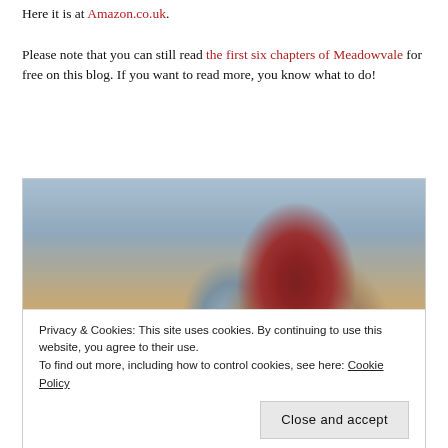Here it is at Amazon.co.uk.

Please note that you can still read the first six chapters of Meadowvale for free on this blog. If you want to read more, you know what to do!
[Figure (photo): A person wearing a dark red/maroon beanie hat and cream/beige knitted scarf, holding or embracing a child from behind, viewed from behind. The background is blurred with muted blue-grey and warm golden tones suggesting an outdoor winter setting.]
Privacy & Cookies: This site uses cookies. By continuing to use this website, you agree to their use.
To find out more, including how to control cookies, see here: Cookie Policy
Close and accept